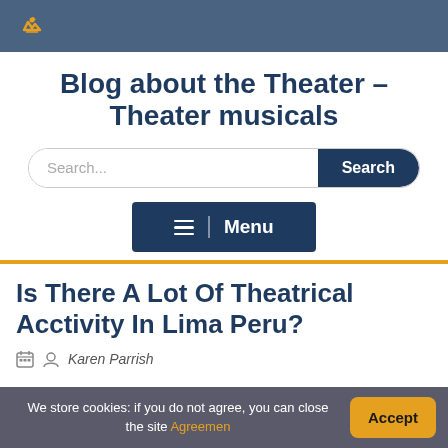Blog about the Theater – Theater musicals
Blog about the Theater – Theater musicals
[Figure (screenshot): Search input field with Search button]
[Figure (other): Menu button with hamburger icon]
Is There A Lot Of Theatrical Acctivity In Lima Peru?
Karen Parrish
We store cookies: if you do not agree, you can close the site Agreemen